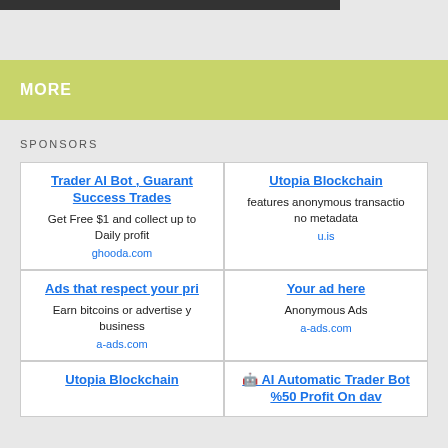MORE
SPONSORS
Trader AI Bot , Guaranteed Success Trades
Get Free $1 and collect up to Daily profit
ghooda.com
Utopia Blockchain
features anonymous transactions no metadata
u.is
Ads that respect your privacy
Earn bitcoins or advertise your business
a-ads.com
Your ad here
Anonymous Ads
a-ads.com
Utopia Blockchain
🤖 AI Automatic Trader Bot %50 Profit On day